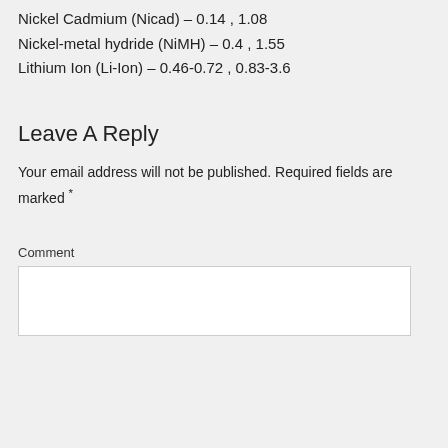Nickel Cadmium (Nicad) – 0.14 , 1.08
Nickel-metal hydride (NiMH) – 0.4 , 1.55
Lithium Ion (Li-Ion) – 0.46-0.72 , 0.83-3.6
Leave A Reply
Your email address will not be published. Required fields are marked *
Comment